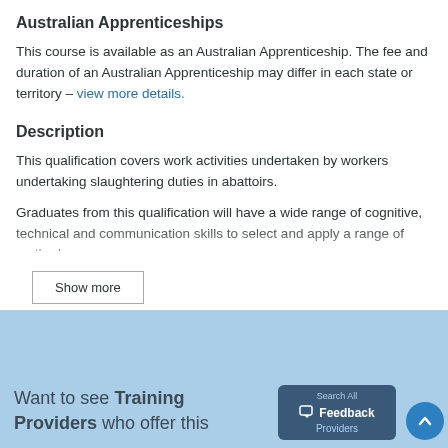Australian Apprenticeships
This course is available as an Australian Apprenticeship. The fee and duration of an Australian Apprenticeship may differ in each state or territory – view more details.
Description
This qualification covers work activities undertaken by workers undertaking slaughtering duties in abattoirs.
Graduates from this qualification will have a wide range of cognitive, technical and communication skills to select and apply a range of methods,
Show more
Want to see Training Providers who offer this